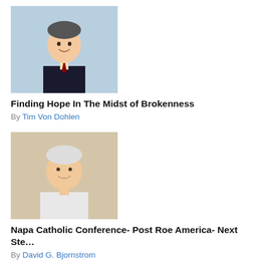[Figure (photo): Headshot of a man in a dark suit with a tie, light blue background]
Finding Hope In The Midst of Brokenness
By Tim Von Dohlen
[Figure (photo): Headshot of an older white-haired man in a white shirt, warm indoor background]
Napa Catholic Conference- Post Roe America- Next Ste…
By David G. Bjornstrom
[Figure (photo): Headshot of a smiling man with dark hair, outdoor background]
BOOK: Uneven Justice, The Plot to Sink Galleon
By Thomas M. Loarie